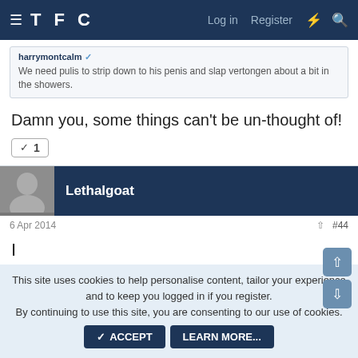TFC  Log in  Register
harrymontcalm  We need pulis to strip down to his penis and slap vertongen about a bit in the showers.
Damn you, some things can't be un-thought of!
✓ 1
Lethalgoat
6 Apr 2014  #44
I
This site uses cookies to help personalise content, tailor your experience and to keep you logged in if you register.
By continuing to use this site, you are consenting to our use of cookies.
✓ ACCEPT   LEARN MORE...